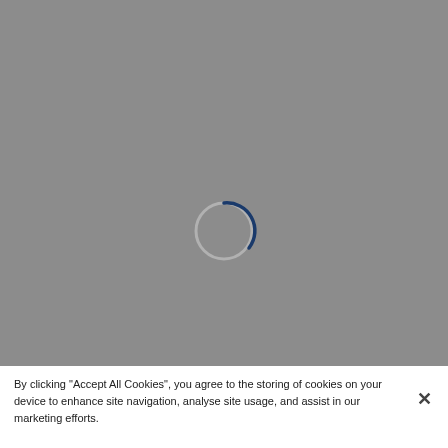[Figure (other): Grey loading screen with a circular spinner (light grey ring with a dark blue partial arc) centered in the upper grey area of the page.]
By clicking “Accept All Cookies”, you agree to the storing of cookies on your device to enhance site navigation, analyse site usage, and assist in our marketing efforts.